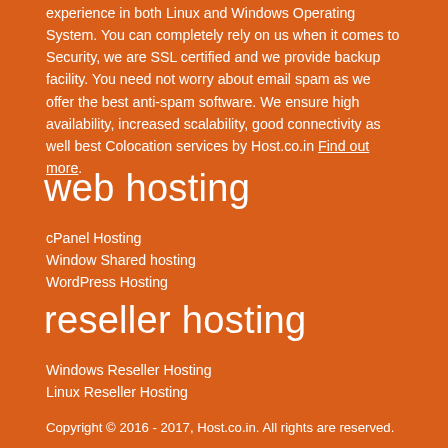experience in both Linux and Windows Operating System. You can completely rely on us when it comes to Security, we are SSL certified and we provide backup facility. You need not worry about email spam as we offer the best anti-spam software. We ensure high availability, increased scalability, good connectivity as well best Colocation services by Host.co.in Find out more.
web hosting
cPanel Hosting
Window Shared hosting
WordPress Hosting
reseller hosting
Windows Reseller Hosting
Linux Reseller Hosting
Copyright © 2016 - 2017, Host.co.in. All rights are reserved.